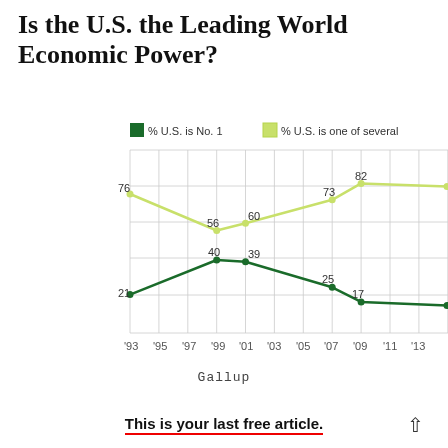Is the U.S. the Leading World Economic Power?
[Figure (line-chart): Is the U.S. the Leading World Economic Power?]
Gallup
This is your last free article.